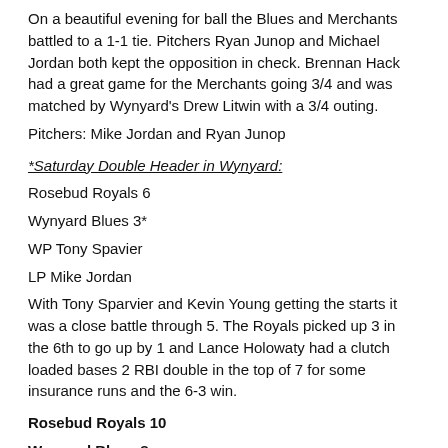On a beautiful evening for ball the Blues and Merchants battled to a 1-1 tie. Pitchers Ryan Junop and Michael Jordan both kept the opposition in check. Brennan Hack had a great game for the Merchants going 3/4 and was matched by Wynyard's Drew Litwin with a 3/4 outing.
Pitchers: Mike Jordan and Ryan Junop
*Saturday Double Header in Wynyard:
Rosebud Royals 6
Wynyard Blues 3*
WP Tony Spavier
LP Mike Jordan
With Tony Sparvier and Kevin Young getting the starts it was a close battle through 5. The Royals picked up 3 in the 6th to go up by 1 and Lance Holowaty had a clutch loaded bases 2 RBI double in the top of 7 for some insurance runs and the 6-3 win.
Rosebud Royals 10
Wynyard Blues 8
Wynyard jumped out to an early lead on starting Royals pitcher James Holowaty. The Royals battled back to a 8-7 score after 5 when they brought in Tony Sparvier who shut the door. The Royals scored one in 6 and Bradyn Melrose hit a 2 run walk off home run in the bottom of 7 for the win 10-8.
WP Tony Sparvier 2 innings
LP Mike Jordan
RR HR: Walk off 2 run HR Bradyn Melrose RR
Lance Holowaty
Brynn Achtymichuk
Blues HR: placeholder